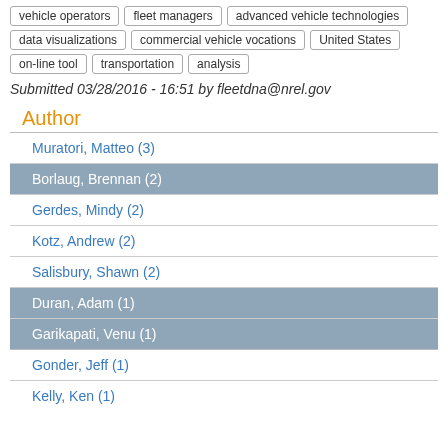vehicle operators
fleet managers
advanced vehicle technologies
data visualizations
commercial vehicle vocations
United States
on-line tool
transportation
analysis
Submitted 03/28/2016 - 16:51 by fleetdna@nrel.gov
Author
Muratori, Matteo (3)
Borlaug, Brennan (2)
Gerdes, Mindy (2)
Kotz, Andrew (2)
Salisbury, Shawn (2)
Duran, Adam (1)
Garikapati, Venu (1)
Gonder, Jeff (1)
Kelly, Ken (1)